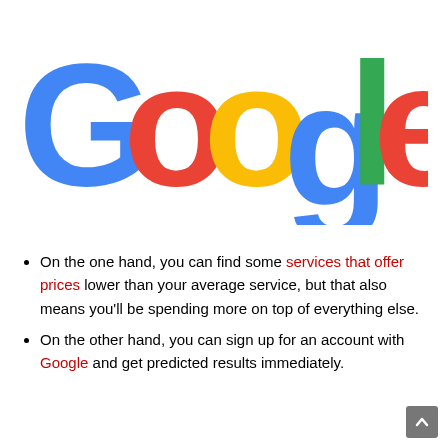[Figure (logo): Google logo in multicolor letters: G (blue), o (red), o (yellow), g (blue), l (green), e (red)]
On the one hand, you can find some services that offer prices lower than your average service, but that also means you'll be spending more on top of everything else.
On the other hand, you can sign up for an account with Google and get predicted results immediately.